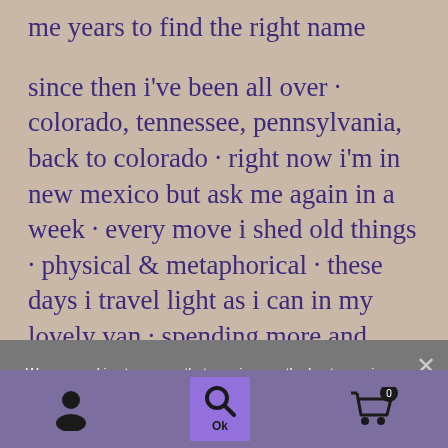me years to find the right name
since then i've been all over · colorado, tennessee, pennsylvania, back to colorado · right now i'm in new mexico but ask me again in a week · every move i shed old things · physical & metaphorical · these days i travel light as i can in my lovely van · spending more and more time on the road · & bringing the vagabond tabby & the cats with me
We use cookies to ensure that we give you the best experience on our website. If you continue to use this site we will assume that you are happy with it. Ok